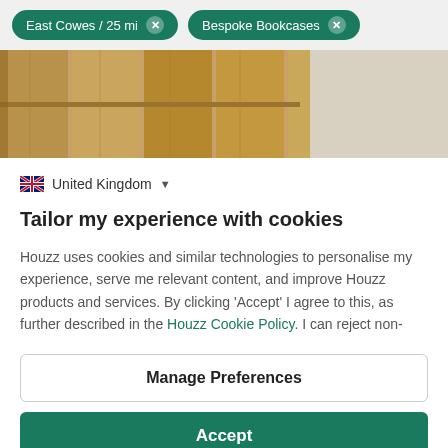East Cowes / 25 mi ✕   Bespoke Bookcases ✕
[Figure (photo): Photo of a wooden bookcase or cabinet in warm oak tones against a light wall]
🇬🇧 United Kingdom ▾
Tailor my experience with cookies
Houzz uses cookies and similar technologies to personalise my experience, serve me relevant content, and improve Houzz products and services. By clicking 'Accept' I agree to this, as further described in the Houzz Cookie Policy. I can reject non-
Manage Preferences
Accept